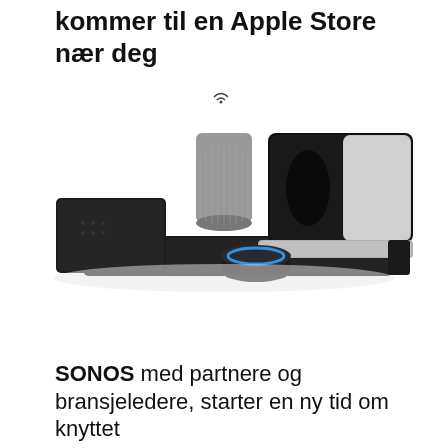…kommer til en Apple Store nær deg
[Figure (photo): A group of Sonos and related audio/smart speaker products arranged together, including speakers, a soundbar, and a smart speaker device with blue light ring, all in black/grey tones.]
SONOS med partnere og bransjeledere, starter en ny tid om knyttet